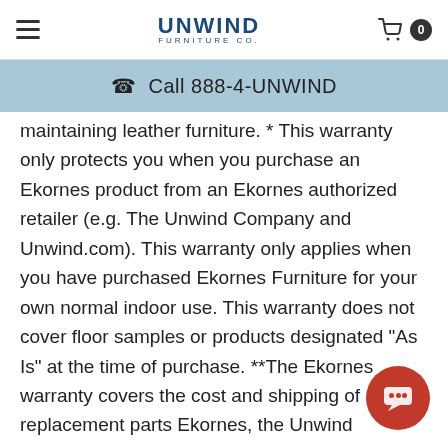Unwind Furniture Co. | Call 888-4-UNWIND
maintaining leather furniture. * This warranty only protects you when you purchase an Ekornes product from an Ekornes authorized retailer (e.g. The Unwind Company and Unwind.com). This warranty only applies when you have purchased Ekornes Furniture for your own normal indoor use. This warranty does not cover floor samples or products designated "As Is" at the time of purchase. **The Ekornes warranty covers the cost and shipping of replacement parts Ekornes, the Unwind Company or Unwind.com not responsible for any other costs incurred replacing the product, including but no limited to